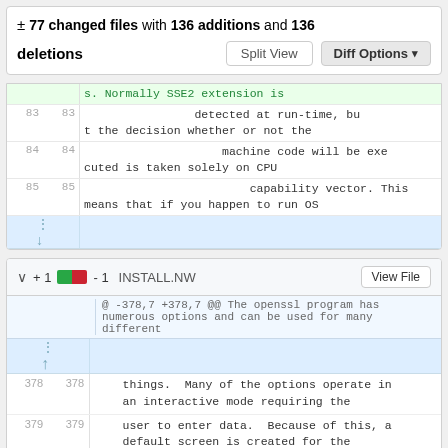± 77 changed files with 136 additions and 136 deletions
[Figure (screenshot): Git diff view showing changed files header with Split View and Diff Options buttons, followed by a code diff section showing lines 83-85 of a file about SSE2 extension detection, with an expand row, and a second diff panel for INSTALL.NW showing +1 -1 changes at lines 378-380 about openssl program options.]